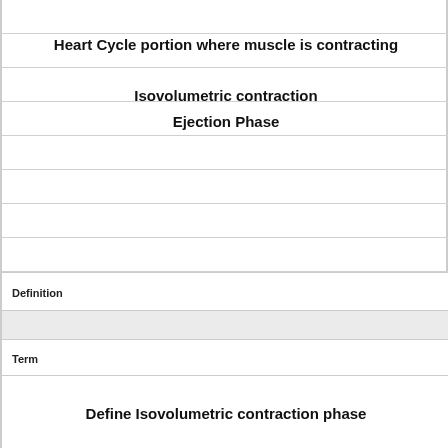Heart Cycle portion where muscle is contracting
Isovolumetric contraction
Ejection Phase
Definition
Term
Define Isovolumetric contraction phase